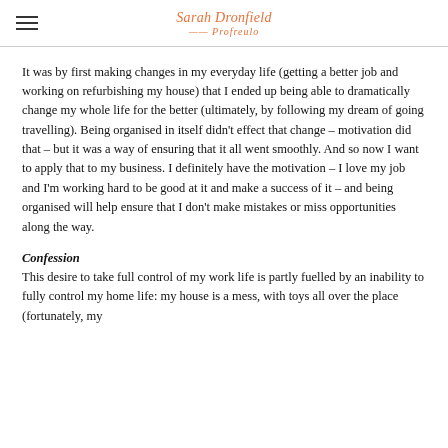Sarah Dronfield — Profreulo
It was by first making changes in my everyday life (getting a better job and working on refurbishing my house) that I ended up being able to dramatically change my whole life for the better (ultimately, by following my dream of going travelling). Being organised in itself didn't effect that change – motivation did that – but it was a way of ensuring that it all went smoothly. And so now I want to apply that to my business. I definitely have the motivation – I love my job and I'm working hard to be good at it and make a success of it – and being organised will help ensure that I don't make mistakes or miss opportunities along the way.
Confession
This desire to take full control of my work life is partly fuelled by an inability to fully control my home life: my house is a mess, with toys all over the place (fortunately, my